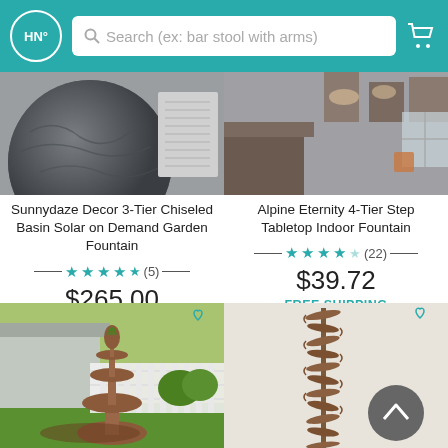HN° | Search (ex: bar stool with arms)
Sunnydaze Decor 3-Tier Chiseled Basin Solar on Demand Garden Fountain
★★★★½ (5) $265.00 FREE SHIPPING SHIPS IN 1 - 2 DAYS
Alpine Eternity 4-Tier Step Tabletop Indoor Fountain
★★★★½ (22) $39.72 FREE SHIPPING SHIPS IN 1 - 2 DAYS
[Figure (photo): Outdoor garden fountain - Sunnydaze Decor 3-Tier Chiseled Basin Solar fountain product image]
[Figure (photo): Indoor tabletop fountain - Alpine Eternity 4-Tier Step Tabletop Indoor Fountain product image]
[Figure (photo): Two-tier birdbath/garden fountain with pineapple finial in outdoor garden setting with white fence]
[Figure (photo): Tall decorative metal garden stake with multiple tiered disc-shaped elements on a light background]